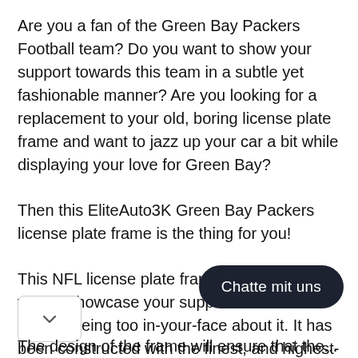Are you a fan of the Green Bay Packers Football team? Do you want to show your support towards this team in a subtle yet fashionable manner? Are you looking for a replacement to your old, boring license plate frame and want to jazz up your car a bit while displaying your love for Green Bay?
Then this EliteAuto3K Green Bay Packers license plate frame is the thing for you!
This NFL license plate frame is the perfect way to showcase your support for the team without being too in-your-face about it. It has been constructed with the finest, and highest-quality ABS to ensure that it remains water and weather-resistant. This means that the logo and design won't wash away anytime it rai[n on] your car.
The design of the frame will ensure that the...